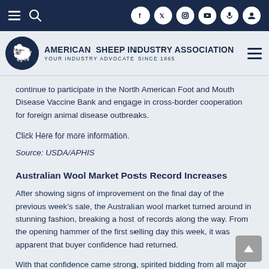American Sheep Industry Association — Your Industry Advocate Since 1865
continue to participate in the North American Foot and Mouth Disease Vaccine Bank and engage in cross-border cooperation for foreign animal disease outbreaks.
Click Here for more information.
Source: USDA/APHIS
Australian Wool Market Posts Record Increases
After showing signs of improvement on the final day of the previous week’s sale, the Australian wool market turned around in stunning fashion, breaking a host of records along the way. From the opening hammer of the first selling day this week, it was apparent that buyer confidence had returned.
With that confidence came strong, spirited bidding from all major